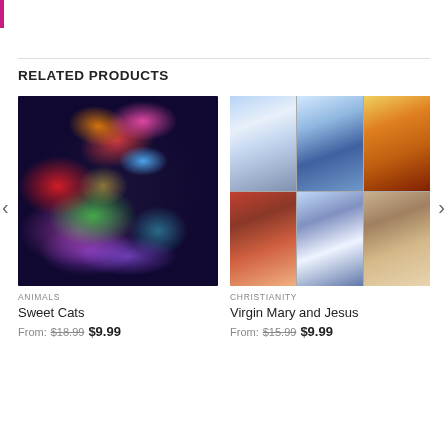RELATED PRODUCTS
[Figure (photo): Colorful neon rainbow cat portrait on dark background]
ANIMALS
Sweet Cats
From: $18.99 $9.99
[Figure (photo): 3x2 mosaic of religious paintings: Virgin Mary with baby Jesus, Mary in blue veil with child, Jesus portrait with roses, Mary in red with child, Mary ascending, Jesus portrait]
CHRISTIANITY
Virgin Mary and Jesus
From: $15.99 $9.99